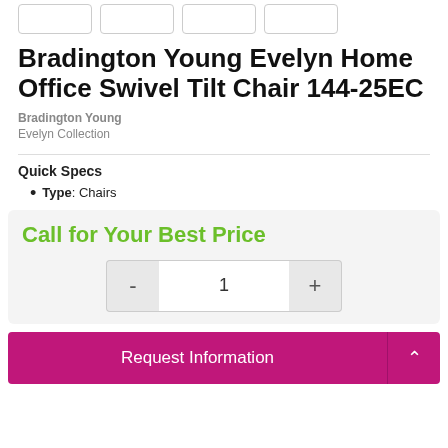[Figure (other): Row of four thumbnail image buttons at the top of the page]
Bradington Young Evelyn Home Office Swivel Tilt Chair 144-25EC
Bradington Young
Evelyn Collection
Quick Specs
Type: Chairs
Call for Your Best Price
- 1 +
Request Information